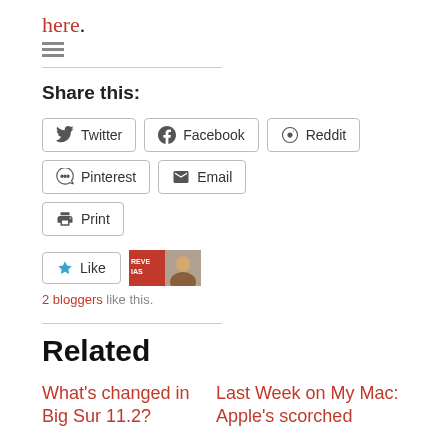here.
Share this:
Twitter
Facebook
Reddit
Pinterest
Email
Print
[Figure (other): Like button with star icon, and two blogger avatars showing REVE IAS logo and a person photo]
2 bloggers like this.
Related
What's changed in Big Sur 11.2?
Last Week on My Mac: Apple's scorched